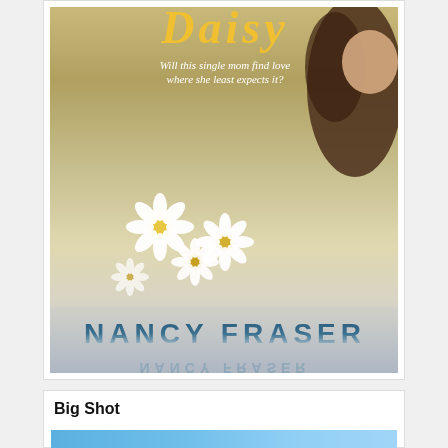[Figure (illustration): Book cover for 'Daisy' by Nancy Fraser. Shows a young girl with brown hair holding white daisy flowers in a field. Title 'Daisy' in large yellow italic text at top, subtitle 'Will this single mom find love where she least expects it?' in white italic text, author name 'NANCY FRASER' in large dark blue capital letters at the bottom.]
Big Shot
[Figure (illustration): Partial book cover for 'Big Shot' — blue background with partial image visible at bottom of page.]